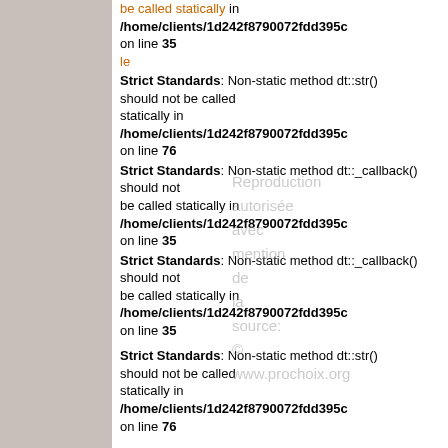be called statically in /home/clients/1d242f8790072fdd395c on line 35
le
Strict Standards: Non-static method dt::str() should not be called statically in /home/clients/1d242f8790072fdd395c on line 76
Reproduction autorisée avec mention de la source: © www.prochoix.org
Strict Standards: Non-static method dt::_callback() should not be called statically in /home/clients/1d242f8790072fdd395c on line 35
Strict Standards: Non-static method dt::_callback() should not be called statically in /home/clients/1d242f8790072fdd395c on line 35
Strict Standards: Non-static method dt::str() should not be called statically in /home/clients/1d242f8790072fdd395c on line 76